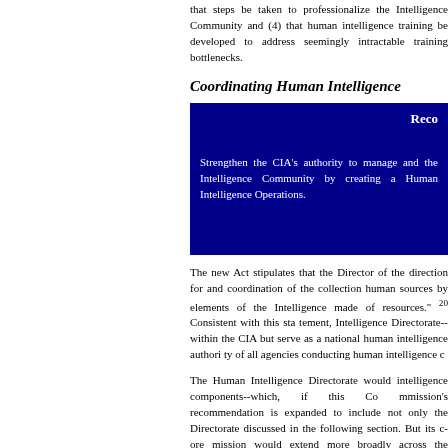that steps be taken to professionalize the Intelligence Community and (4) that human intelligence training be developed to address seemingly intractable training bottlenecks.
Coordinating Human Intelligence
[Figure (other): Dark blue recommendation box with white text. Header reads 'Reco' (truncated). Body text: 'Strengthen the CIA's authority to manage and coordinate the Intelligence Community by creating a Human Intelligence Operations.']
The new Act stipulates that the Director of the direction for and coordination of the collection human sources by elements of the Intelligence made of resources." 20 Consistent with this statement, Intelligence Directorate--within the CIA but serve as a national human intelligence authority of all agencies conducting human intelligence c
The Human Intelligence Directorate would intelligence components--which, if this Commission's recommendation is expanded to include not only the Directorate discussed in the following section. But its core mission would extend more broadly across the Intelligence